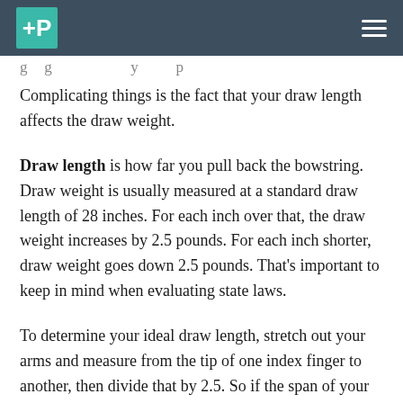+P [logo] [hamburger menu]
g ... g ... y ... p ...
Complicating things is the fact that your draw length affects the draw weight.
Draw length is how far you pull back the bowstring. Draw weight is usually measured at a standard draw length of 28 inches. For each inch over that, the draw weight increases by 2.5 pounds. For each inch shorter, draw weight goes down 2.5 pounds. That’s important to keep in mind when evaluating state laws.
To determine your ideal draw length, stretch out your arms and measure from the tip of one index finger to another, then divide that by 2.5. So if the span of your arms is 70 inches, your draw length would be 28 inches.